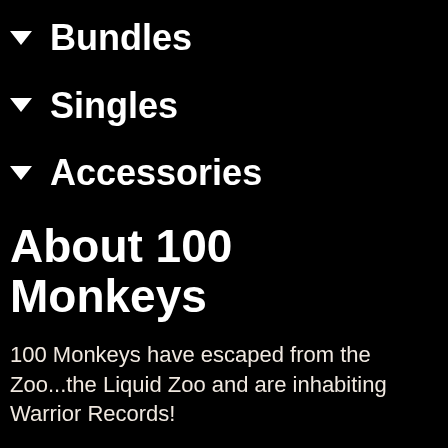▼ Bundles
▼ Singles
▼ Accessories
About 100 Monkeys
100 Monkeys have escaped from the Zoo...the Liquid Zoo and are inhabiting Warrior Records!
100 Monkeys, known for their raucous theatrical live-sets where they switch instruments and vocalists nearly every other song, have released the band's